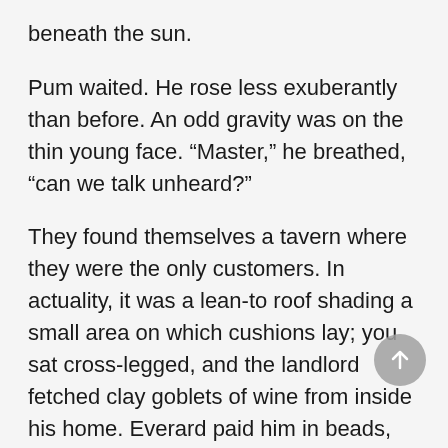beneath the sun.
Pum waited. He rose less exuberantly than before. An odd gravity was on the thin young face. “Master,” he breathed, “can we talk unheard?”
They found themselves a tavern where they were the only customers. In actuality, it was a lean-to roof shading a small area on which cushions lay; you sat cross-legged, and the landlord fetched clay goblets of wine from inside his home. Everard paid him in beads, after desultory haggling. Foot traffic swarmed and babbled up and down the street on which the shop intruded, but at this hour men were generally busied. They’d relax here, those who could afford to, when cooling